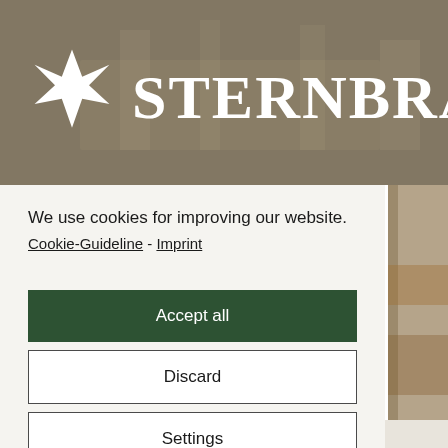[Figure (screenshot): Sternbräu brewery website header with star logo and 'STERNBRÄU' text in white on a muted brown/beige background photo of an interior space]
We use cookies for improving our website.
Cookie-Guideline - Imprint
Accept all
Discard
Settings